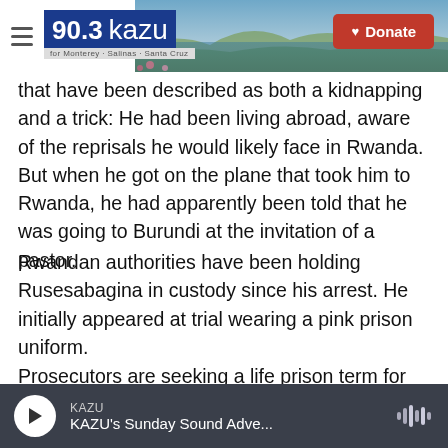90.3 KAZU — Donate
that have been described as both a kidnapping and a trick: He had been living abroad, aware of the reprisals he would likely face in Rwanda. But when he got on the plane that took him to Rwanda, he had apparently been told that he was going to Burundi at the invitation of a pastor.
Rwandan authorities have been holding Rusesabagina in custody since his arrest. He initially appeared at trial wearing a pink prison uniform.
Prosecutors are seeking a life prison term for Rusesabagina, according to the state-run Rwanda...
KAZU — KAZU's Sunday Sound Adve...